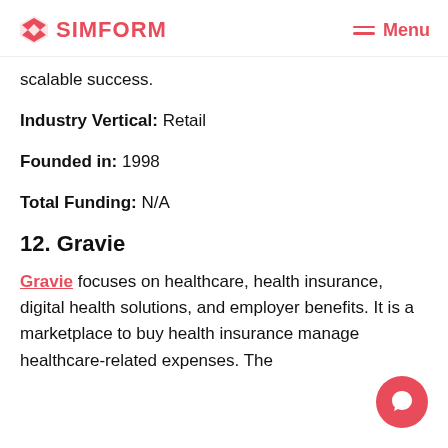SIMFORM  Menu
scalable success.
Industry Vertical: Retail
Founded in: 1998
Total Funding: N/A
12. Gravie
Gravie focuses on healthcare, health insurance, digital health solutions, and employer benefits. It is a marketplace to buy health insurance manage healthcare-related expenses. The